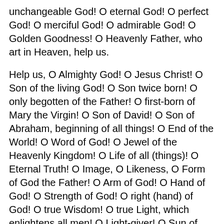unchangeable God! O eternal God! O perfect God! O merciful God! O admirable God! O Golden Goodness! O Heavenly Father, who art in Heaven, help us.
Help us, O Almighty God! O Jesus Christ! O Son of the living God! O Son twice born! O only begotten of the Father! O first-born of Mary the Virgin! O Son of David! O Son of Abraham, beginning of all things! O End of the World! O Word of God! O Jewel of the Heavenly Kingdom! O Life of all (things)! O Eternal Truth! O Image, O Likeness, O Form of God the Father! O Arm of God! O Hand of God! O Strength of God! O right (hand) of God! O true Wisdom! O true Light, which enlightens all men! O Light-giver! O Sun of Righteousness! O Star of the Morning! O Lustre of the Divinity! O Sheen of the Eternal Light! O Fountain of Immortal Life! O Pacificator between God and Man! O Foretold of the Church! O Faithful Shepherd of the flock! O Hope of the Faithful! O Angel of the Great Council! O True Prophet! O True Apostle! O True Preacher! O Master! O Friend of Souls (Spiritual Director)! O Thou of the shining hair! O Immortal Food! O Tree of Life! O Righteous of Heaven! O Wand from the Stem of Moses! O King of Israel!